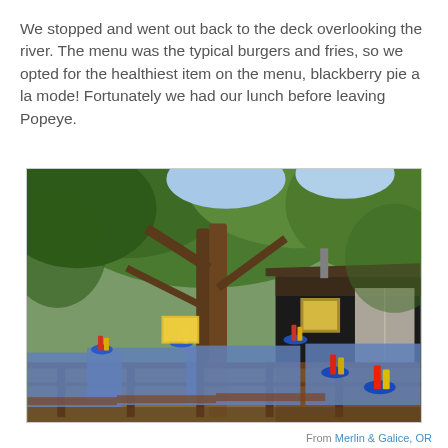We stopped and went out back to the deck overlooking the river. The menu was the typical burgers and fries, so we opted for the healthiest item on the menu, blackberry pie a la mode! Fortunately we had our lunch before leaving Popeye.
[Figure (photo): Outdoor deck of a riverside restaurant with picnic tables covered in blue and white checkered tablecloths, condiment holders in blue rings, surrounded by large trees. A dark wooden building is visible on the right.]
From Merlin & Galice, OR